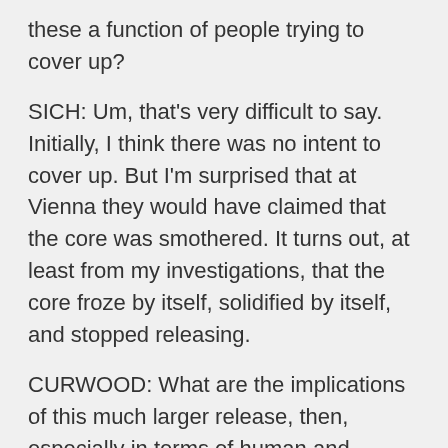these a function of people trying to cover up?
SICH: Um, that's very difficult to say. Initially, I think there was no intent to cover up. But I'm surprised that at Vienna they would have claimed that the core was smothered. It turns out, at least from my investigations, that the core froze by itself, solidified by itself, and stopped releasing.
CURWOOD: What are the implications of this much larger release, then, especially in terms of human and environmental health?
SICH: Well, okay. This is where I step out of my field. But iodine, radioactive iodine, which is one of the most volatile elements and also one of the most biologically hazardous ones, was released in tremendous quantities. Now, there have been noticed in Byelorussia and